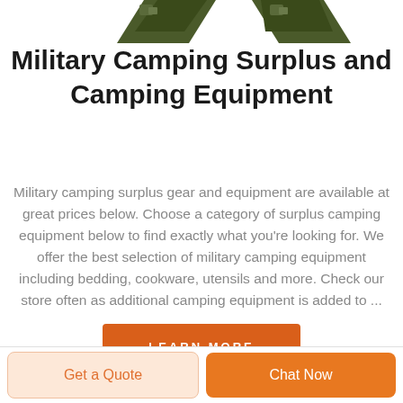[Figure (photo): Partial view of two dark olive/green military-style items at top of page]
Military Camping Surplus and Camping Equipment
Military camping surplus gear and equipment are available at great prices below. Choose a category of surplus camping equipment below to find exactly what you're looking for. We offer the best selection of military camping equipment including bedding, cookware, utensils and more. Check our store often as additional camping equipment is added to ...
LEARN MORE
Get a Quote
Chat Now